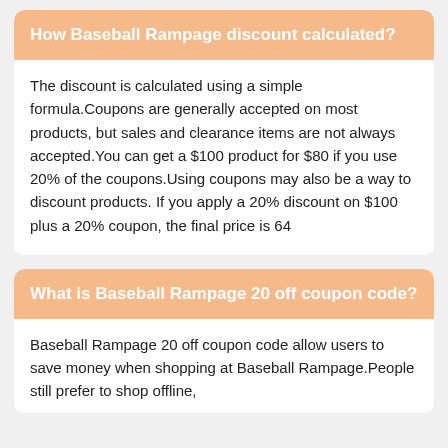How Baseball Rampage discount calculated?
The discount is calculated using a simple formula.Coupons are generally accepted on most products, but sales and clearance items are not always accepted.You can get a $100 product for $80 if you use 20% of the coupons.Using coupons may also be a way to discount products. If you apply a 20% discount on $100 plus a 20% coupon, the final price is 64
What is Baseball Rampage 20 off coupon code?
Baseball Rampage 20 off coupon code allow users to save money when shopping at Baseball Rampage.People still prefer to shop offline,